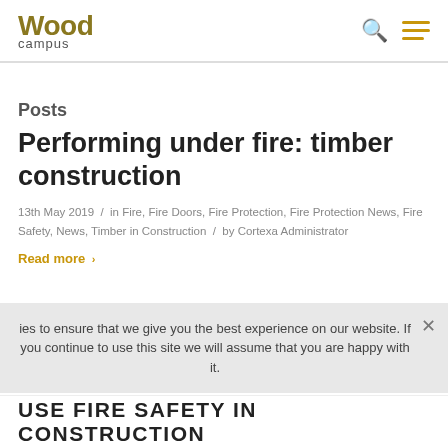Wood campus
Posts
Performing under fire: timber construction
13th May 2019  /  in Fire, Fire Doors, Fire Protection, Fire Protection News, Fire Safety, News, Timber in Construction  /  by Cortexa Administrator
Read more »
We use cookies to ensure that we give you the best experience on our website. If you continue to use this site we will assume that you are happy with it.
USE FIRE SAFETY IN CONSTRUCTION